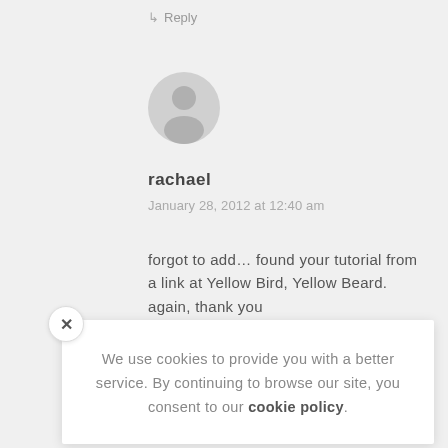↳ Reply
[Figure (illustration): Generic grey user avatar circle with silhouette]
rachael
January 28, 2012 at 12:40 am
forgot to add… found your tutorial from a link at Yellow Bird, Yellow Beard. again, thank you 🙂
↳ Reply
We use cookies to provide you with a better service. By continuing to browse our site, you consent to our cookie policy.